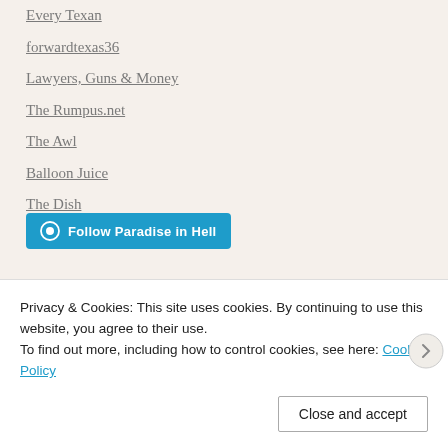Every Texan
forwardtexas36
Lawyers, Guns & Money
The Rumpus.net
The Awl
Balloon Juice
The Dish
[Figure (other): Follow Paradise in Hell WordPress follow button (blue rounded rectangle)]
[Figure (other): Follow Paradise in Hell WordPress follow button (blue rounded rectangle) - second instance]
Privacy & Cookies: This site uses cookies. By continuing to use this website, you agree to their use.
To find out more, including how to control cookies, see here: Cookie Policy
Close and accept